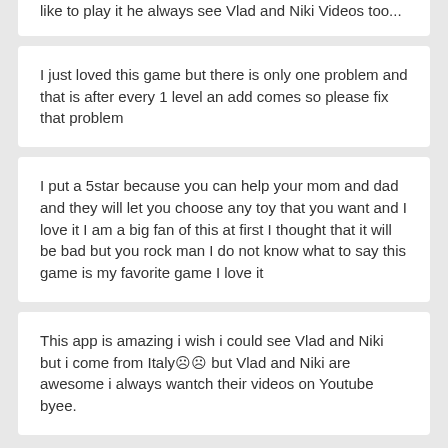like to play it he always see Vlad and Niki Videos too...
I just loved this game but there is only one problem and that is after every 1 level an add comes so please fix that problem
I put a 5star because you can help your mom and dad and they will let you choose any toy that you want and I love it I am a big fan of this at first I thought that it will be bad but you rock man I do not know what to say this game is my favorite game I love it
This app is amazing i wish i could see Vlad and Niki but i come from Italy☹☹ but Vlad and Niki are awesome i always wantch their videos on Youtube byee.